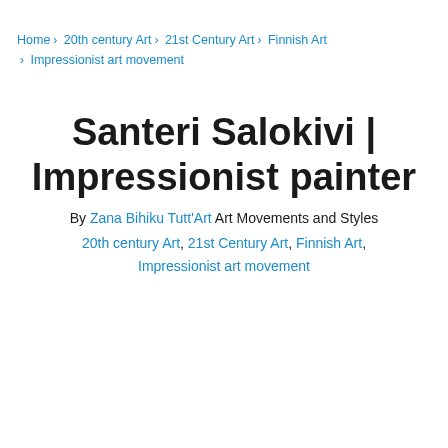Home › 20th century Art › 21st Century Art › Finnish Art › Impressionist art movement
Santeri Salokivi | Impressionist painter
By Zana Bihiku Tutt'Art Art Movements and Styles
20th century Art, 21st Century Art, Finnish Art, Impressionist art movement